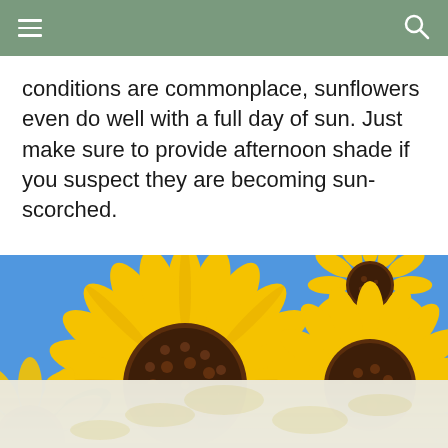[navigation bar with menu and search icons]
conditions are commonplace, sunflowers even do well with a full day of sun. Just make sure to provide afternoon shade if you suspect they are becoming sun-scorched.
[Figure (photo): Close-up photograph of three sunflowers with bright yellow petals and brown centers against a vivid blue sky, with green leaves visible. The bottom portion shows a faded/washed-out continuation of the sunflower image.]